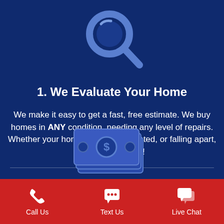[Figure (illustration): Blue magnifying glass icon on dark blue background]
1. We Evaluate Your Home
We make it easy to get a fast, free estimate. We buy homes in ANY condition, needing any level of repairs. Whether your home is messy, outdated, or falling apart, we want to buy it!
[Figure (illustration): Blue money/cash stack icon with dollar sign on dark blue background]
[Figure (infographic): Red footer bar with three icons: phone (Call Us), speech bubble with dots (Text Us), chat bubble (Live Chat)]